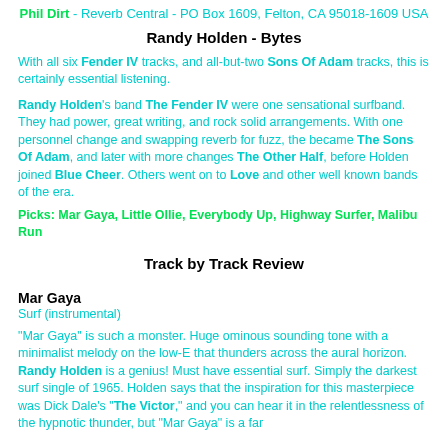Phil Dirt - Reverb Central - PO Box 1609, Felton, CA 95018-1609 USA
Randy Holden - Bytes
With all six Fender IV tracks, and all-but-two Sons Of Adam tracks, this is certainly essential listening.
Randy Holden's band The Fender IV were one sensational surfband. They had power, great writing, and rock solid arrangements. With one personnel change and swapping reverb for fuzz, the became The Sons Of Adam, and later with more changes The Other Half, before Holden joined Blue Cheer. Others went on to Love and other well known bands of the era.
Picks: Mar Gaya, Little Ollie, Everybody Up, Highway Surfer, Malibu Run
Track by Track Review
Mar Gaya
Surf (instrumental)
"Mar Gaya" is such a monster. Huge ominous sounding tone with a minimalist melody on the low-E that thunders across the aural horizon. Randy Holden is a genius! Must have essential surf. Simply the darkest surf single of 1965. Holden says that the inspiration for this masterpiece was Dick Dale's "The Victor," and you can hear it in the relentlessness of the hypnotic thunder, but "Mar Gaya" is a far